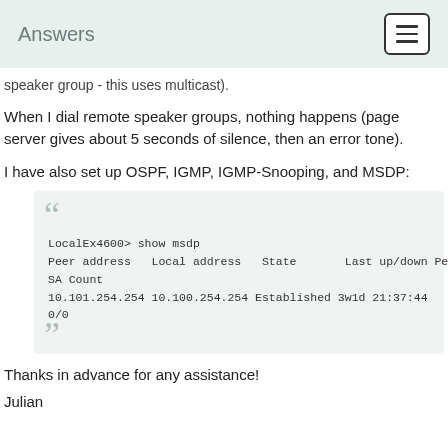Answers
speaker group - this uses multicast).
When I dial remote speaker groups, nothing happens (page server gives about 5 seconds of silence, then an error tone).
I have also set up OSPF, IGMP, IGMP-Snooping, and MSDP:
LocalEx4600> show msdp
Peer address   Local address   State       Last up/down Peer-Group SA Count
10.101.254.254 10.100.254.254 Established 3w1d 21:37:44
0/0
Thanks in advance for any assistance!
Julian